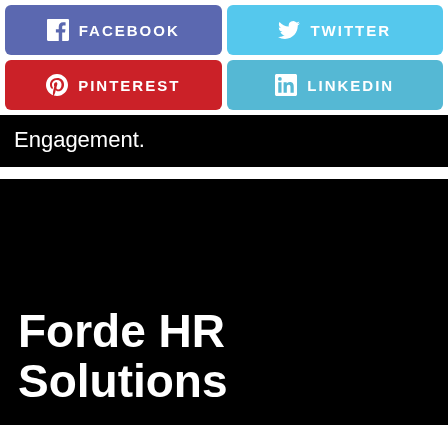[Figure (infographic): Social media share buttons: Facebook (purple-blue), Twitter (light blue), Pinterest (red), LinkedIn (light blue)]
Engagement.
Forde HR Solutions